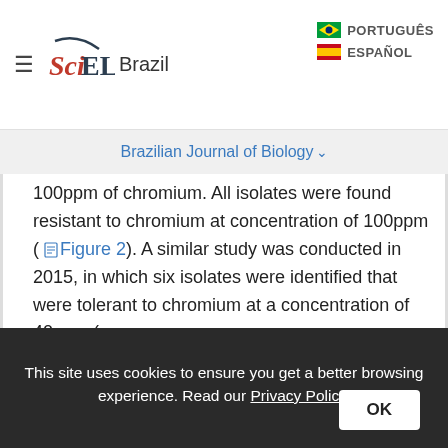SciELO Brazil — PORTUGUÊS / ESPAÑOL
Brazilian Journal of Biology
100ppm of chromium. All isolates were found resistant to chromium at concentration of 100ppm ( Figure 2). A similar study was conducted in 2015, in which six isolates were identified that were tolerant to chromium at a concentration of 40ppm ( Mustapha and Halimoon, 2015). Many researchers have reported metal resistance in bacteria isolated from wastewater and soil polluted with different heavy metals (Alam and Malik, 2008; Abou-Shanab et al., 2007). Shakoori and Muneer (2002) isolated bacteria from waste water and found that all isolates were
This site uses cookies to ensure you get a better browsing experience. Read our Privacy Policy.  OK